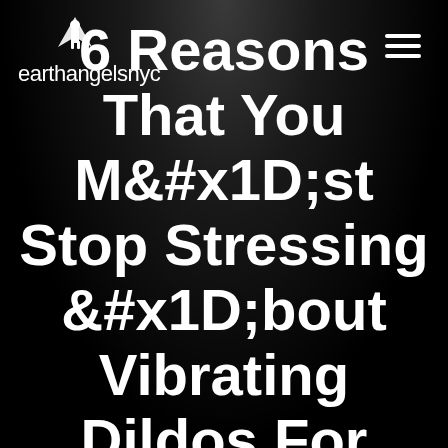earthangelsnyc
6 Reasons That You Mst Stop Stressing bout Vibrating Dildos For Men